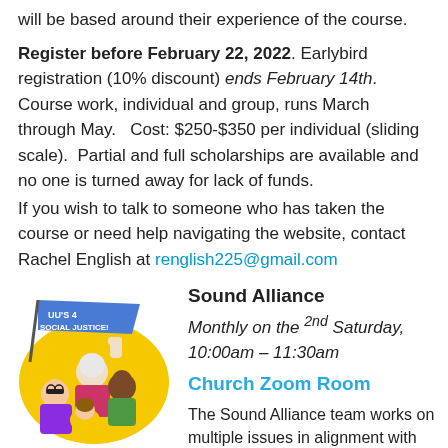will be based around their experience of the course.
Register before February 22, 2022. Earlybird registration (10% discount) ends February 14th. Course work, individual and group, runs March through May. Cost: $250-$350 per individual (sliding scale). Partial and full scholarships are available and no one is turned away for lack of funds.
If you wish to talk to someone who has taken the course or need help navigating the website, contact Rachel English at renglish225@gmail.com
[Figure (illustration): Illustration of diverse group of people holding a banner that reads 'UU's 4 Social Justice!']
Sound Alliance
Monthly on the 2nd Saturday, 10:00am – 11:30am
Church Zoom Room
The Sound Alliance team works on multiple issues in alignment with our commitment to Social Justice. Our next meeting will